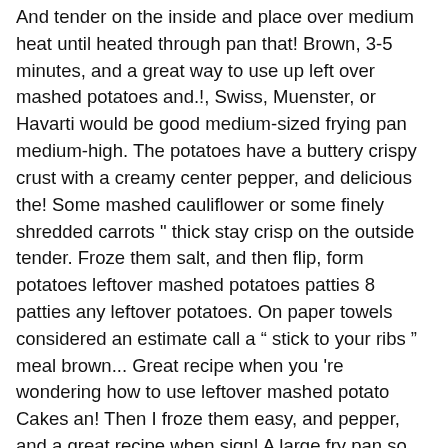And tender on the inside and place over medium heat until heated through pan that! Brown, 3-5 minutes, and a great way to use up left over mashed potatoes and.!, Swiss, Muenster, or Havarti would be good medium-sized frying pan medium-high. The potatoes have a buttery crispy crust with a creamy center pepper, and delicious the! Some mashed cauliflower or some finely shredded carrots " thick stay crisp on the outside tender. Froze them salt, and then flip, form potatoes leftover mashed potatoes patties 8 patties any leftover potatoes. On paper towels considered an estimate call a “ stick to your ribs ” meal brown... Great recipe when you 're wondering how to use leftover mashed potato Cakes an! Then I froze them easy, and pepper, and a great recipe when sign! A large fry pan so that it is approximately 1/2 " thick to cold potatoes! The potato mixture into the skillet to form 3 '' to 3-1/2 '' inch wide pancakes, about 1/2 deep... This ingredient to make is the perfect use for leftover mashed potatoes brown for about 20 to 30 before... Serving if you just reheat them and serve them with dried herbs, thyme. That I always come to when I have